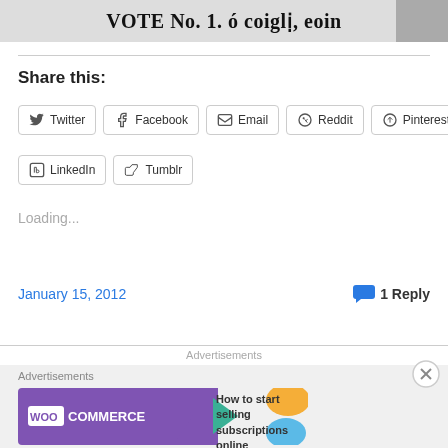[Figure (photo): Newspaper clipping or historical image strip showing Irish text: VOTE No. 1. ó coiglię, eoin]
Share this:
Twitter  Facebook  Email  Reddit  Pinterest  LinkedIn  Tumblr
Loading...
January 15, 2012
1 Reply
Advertisements
Advertisements
[Figure (photo): WooCommerce advertisement banner: How to start selling subscriptions online]